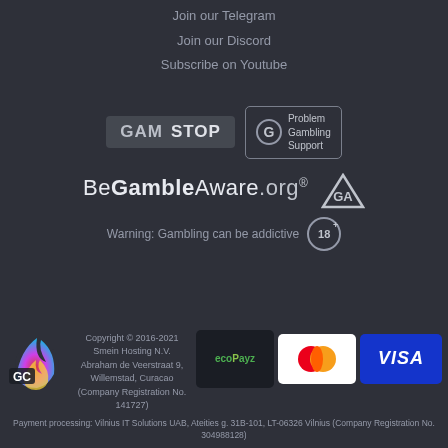Join our Telegram
Join our Discord
Subscribe on Youtube
[Figure (logo): GamStop badge logo with dark background and text GAM STOP]
[Figure (logo): GamCare Problem Gambling Support badge with circular G icon]
[Figure (logo): BeGambleAware.org logo with GA triangle icon and registered trademark symbol]
Warning: Gambling can be addictive (18+)
[Figure (logo): GC site logo — colorful flame shape with GC text]
Copyright © 2016-2021 Smein Hosting N.V. Abraham de Veerstraat 9, Willemstad, Curacao (Company Registration No. 141727)
[Figure (logo): ecoPayz payment logo on dark background]
[Figure (logo): Mastercard payment logo — two overlapping red and orange circles on white background]
[Figure (logo): Visa payment logo on blue background]
Payment processing: Vilnius IT Solutions UAB, Ateities g. 31B-101, LT-06326 Vilnius (Company Registration No. 304988128)